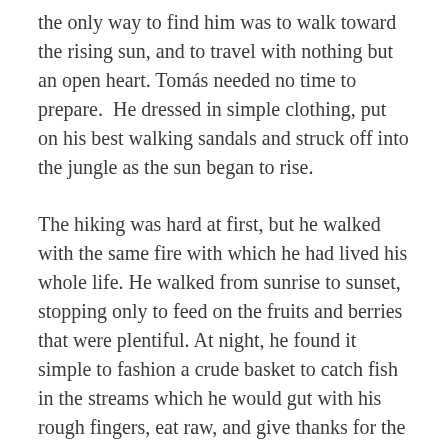the only way to find him was to walk toward the rising sun, and to travel with nothing but an open heart. Tomás needed no time to prepare.  He dressed in simple clothing, put on his best walking sandals and struck off into the jungle as the sun began to rise.
The hiking was hard at first, but he walked with the same fire with which he had lived his whole life. He walked from sunrise to sunset, stopping only to feed on the fruits and berries that were plentiful. At night, he found it simple to fashion a crude basket to catch fish in the streams which he would gut with his rough fingers, eat raw, and give thanks for the sustenance that gave him strength for another day.  Then he would fall asleep to the sound of rushing water and dream about the sea.
His journey stretched into weeks and then into months.